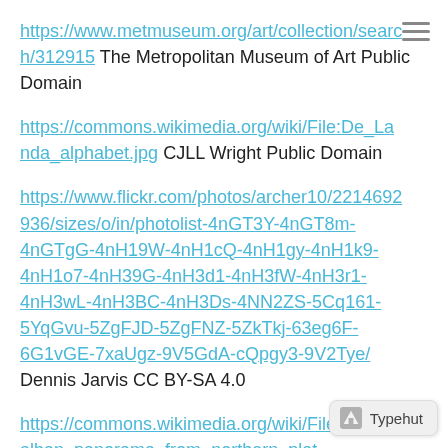https://www.metmuseum.org/art/collection/search/312915 The Metropolitan Museum of Art Public Domain
https://commons.wikimedia.org/wiki/File:De_Landa_alphabet.jpg CJLL Wright Public Domain
https://www.flickr.com/photos/archer10/22146929936/sizes/o/in/photolist-4nGT3Y-4nGT8m-4nGTgG-4nH19W-4nH1cQ-4nH1gy-4nH1k9-4nH1o7-4nH39G-4nH3d1-4nH3fW-4nH3r1-4nH3wL-4nH3BC-4nH3Ds-4NN2ZS-5Cq161-5YqGvu-5ZgFJD-5ZgFNZ-5ZkTkj-63eg6F-6G1vGE-7xaUgz-9V5GdA-cQpgy3-9V2Tye/ Dennis Jarvis CC BY-SA 4.0
https://commons.wikimedia.org/wiki/File:Monte_alban_panorama_from_northern_plat... Eke CC BY-SA 3.0